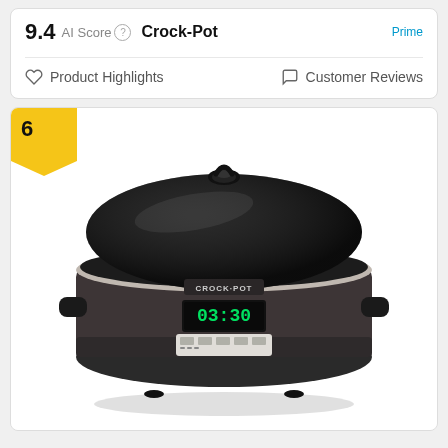9.4  AI Score  Crock-Pot
Product Highlights    Customer Reviews
6
[Figure (photo): A Crock-Pot slow cooker with black stainless steel finish, glass lid with handle, digital display showing 03:30, and control buttons. The Crock-Pot logo is visible on the front.]